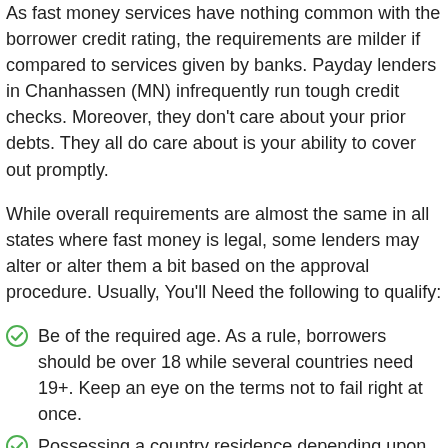As fast money services have nothing common with the borrower credit rating, the requirements are milder if compared to services given by banks. Payday lenders in Chanhassen (MN) infrequently run tough credit checks. Moreover, they don't care about your prior debts. They all do care about is your ability to cover out promptly.
While overall requirements are almost the same in all states where fast money is legal, some lenders may alter or alter them a bit based on the approval procedure. Usually, You'll Need the following to qualify:
Be of the required age. As a rule, borrowers should be over 18 while several countries need 19+. Keep an eye on the terms not to fail right at once.
Possessing a country residence depending upon where you